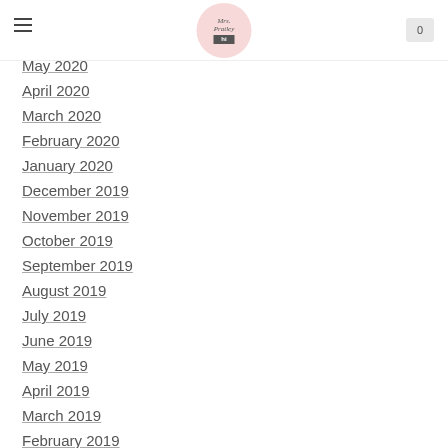Mrs. Pratley [logo]
May 2020
April 2020
March 2020
February 2020
January 2020
December 2019
November 2019
October 2019
September 2019
August 2019
July 2019
June 2019
May 2019
April 2019
March 2019
February 2019
January 2019